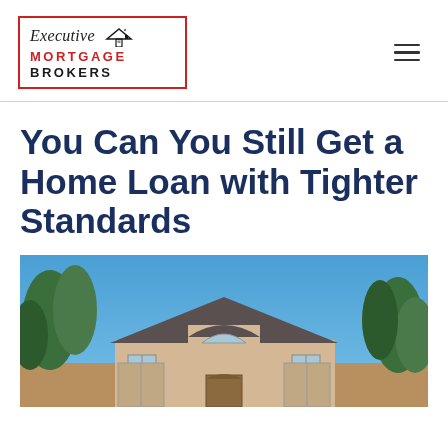[Figure (logo): Executive Mortgage Brokers logo in red border box with house icon and script text]
You Can You Still Get a Home Loan with Tighter Standards
[Figure (photo): Exterior photo of a large residential house with beige/tan stucco exterior, multiple roof peaks, large windows, blue sky background, green trees on both sides]